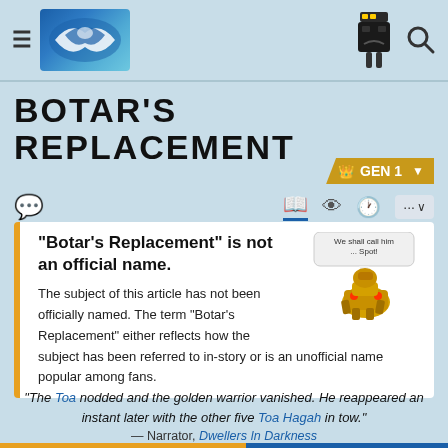Bionicle Wiki — Botar's Replacement page header with navigation
BOTAR'S REPLACEMENT
GEN 1
"Botar's Replacement" is not an official name.
The subject of this article has not been officially named. The term "Botar's Replacement" either reflects how the subject has been referred to in-story or is an unofficial name popular among fans.
"The Toa nodded and the golden warrior vanished. He reappeared an instant later with the other five Toa Hagah in tow."
— Narrator, Dwellers In Darkness